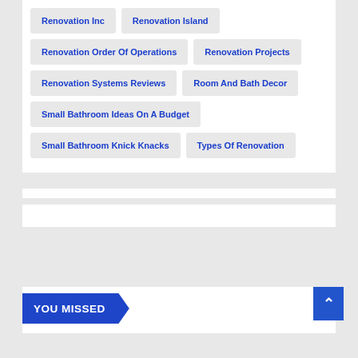Renovation Inc
Renovation Island
Renovation Order Of Operations
Renovation Projects
Renovation Systems Reviews
Room And Bath Decor
Small Bathroom Ideas On A Budget
Small Bathroom Knick Knacks
Types Of Renovation
YOU MISSED